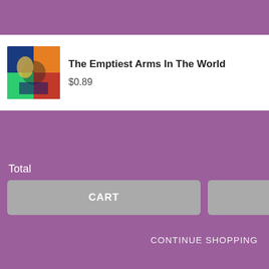[Figure (screenshot): Shopping cart UI overlay on a dark background. Shows a white card with album art thumbnail, item titled 'The Emptiest Arms In The World' priced at $0.89, quantity stepper showing 1, and a trash icon. Purple/mauve panel contains total of $0.89 and buttons for CART and CHECKOUT, plus CONTINUE SHOPPING link. Right side shows partial dark modal with input fields and partial text 'ail.' and 'GUY'.]